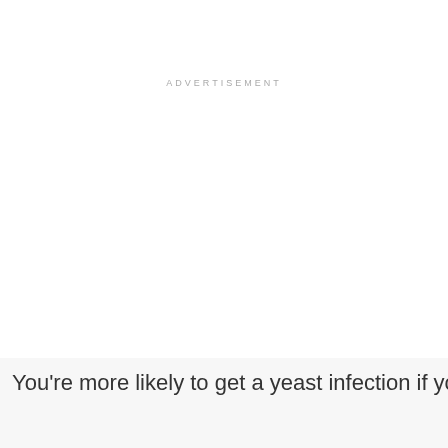ADVERTISEMENT
You're more likely to get a yeast infection if you: